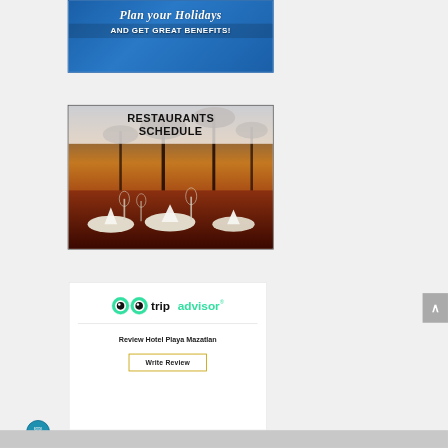[Figure (illustration): Blue banner advertisement reading 'Plan your Holidays AND GET GREAT BENEFITS!']
[Figure (photo): Restaurant schedule banner with photo of elegantly set dinner table with folded napkins and wine glasses at sunset, overlaid with text 'RESTAURANTS SCHEDULE']
[Figure (logo): TripAdvisor widget box with owl logo and text 'tripadvisor', a divider, text 'Review Hotel Playa Mazatlan', and a 'Write Review' button]
BOOK NOW!